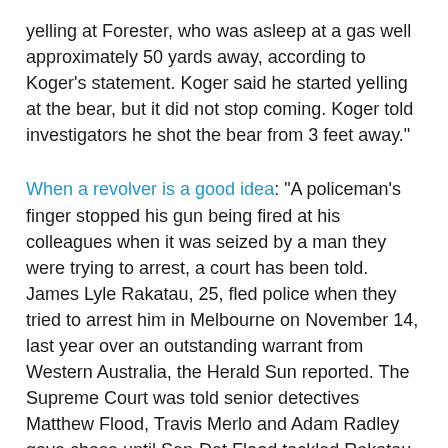yelling at Forester, who was asleep at a gas well approximately 50 yards away, according to Koger's statement. Koger said he started yelling at the bear, but it did not stop coming. Koger told investigators he shot the bear from 3 feet away."
When a revolver is a good idea: "A policeman's finger stopped his gun being fired at his colleagues when it was seized by a man they were trying to arrest, a court has been told. James Lyle Rakatau, 25, fled police when they tried to arrest him in Melbourne on November 14, last year over an outstanding warrant from Western Australia, the Herald Sun reported. The Supreme Court was told senior detectives Matthew Flood, Travis Merlo and Adam Radley gave chase until Sen-Det Flood tackled Rakatau as he tried to climb a fence. Prosecutor Robert Barry said during the struggle that followed Rakatau got hold of Sen-Det Flood's gun from his holster and yelled: "Now you freeze ... ". Sen-Det Flood got both hands on the revolver and held the cylinder so it wouldn't spin and fire. His finger was jammed between the hammer and primer when Rakatau tried to fire more shots as